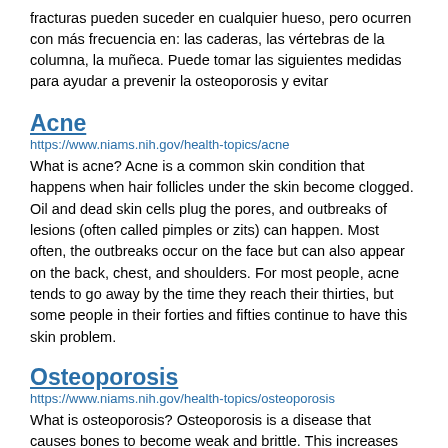fracturas pueden suceder en cualquier hueso, pero ocurren con más frecuencia en: las caderas, las vértebras de la columna, la muñeca. Puede tomar las siguientes medidas para ayudar a prevenir la osteoporosis y evitar
Acne
https://www.niams.nih.gov/health-topics/acne
What is acne? Acne is a common skin condition that happens when hair follicles under the skin become clogged. Oil and dead skin cells plug the pores, and outbreaks of lesions (often called pimples or zits) can happen. Most often, the outbreaks occur on the face but can also appear on the back, chest, and shoulders. For most people, acne tends to go away by the time they reach their thirties, but some people in their forties and fifties continue to have this skin problem.
Osteoporosis
https://www.niams.nih.gov/health-topics/osteoporosis
What is osteoporosis? Osteoporosis is a disease that causes bones to become weak and brittle. This increases your risk of broken bones (fractures). Osteoporosis is a “silent” disease because you may not have symptoms. You may not even know you have the disease until you break a bone. Breaks can occur in any bone but